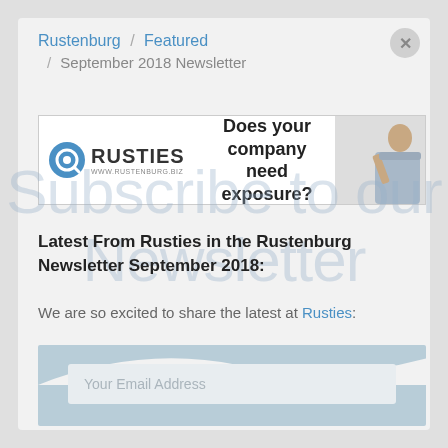Rustenburg / Featured / September 2018 Newsletter
[Figure (infographic): Ad banner for Rusties (www.rustenburg.biz) with logo, tagline 'Does your company need exposure?' and a photo of a stressed businessman]
Subscribe to our Newsletter
Latest From Rusties in the Rustenburg Newsletter September 2018:
We are so excited to share the latest at Rusties:
Your Email Address